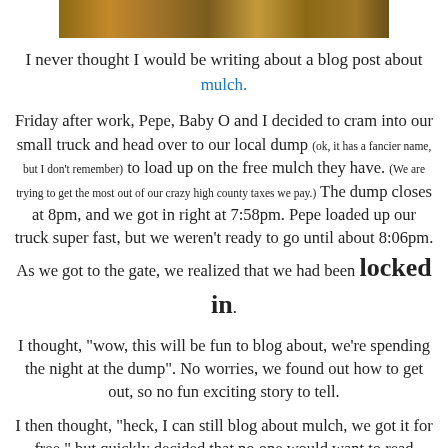[Figure (photo): Partial image of mulch/wood chips at the top of the page]
I never thought I would be writing about a blog post about mulch.
Friday after work, Pepe, Baby O and I decided to cram into our small truck and head over to our local dump (ok, it has a fancier name, but I don't remember) to load up on the free mulch they have. (We are trying to get the most out of our crazy high county taxes we pay.) The dump closes at 8pm, and we got in right at 7:58pm. Pepe loaded up our truck super fast, but we weren't ready to go until about 8:06pm. As we got to the gate, we realized that we had been locked in.
I thought, "wow, this will be fun to blog about, we're spending the night at the dump". No worries, we found out how to get out, so no fun exciting story to tell.
I then thought, "heck, I can still blog about mulch, we got it for free," but quickly decided that no one would want to read about that.
But I digress.